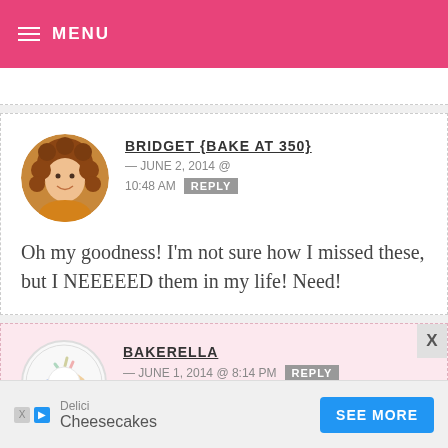MENU
BRIDGET {BAKE AT 350} — JUNE 2, 2014 @ 10:48 AM REPLY
Oh my goodness! I'm not sure how I missed these, but I NEEEEED them in my life! Need!
BAKERELLA — JUNE 1, 2014 @ 8:14 PM REPLY
Jenni, Thi P, Noelle, Sadaf, Rachel, Robyn
[Figure (other): Advertisement bar: Delici Cheesecakes with SEE MORE button]